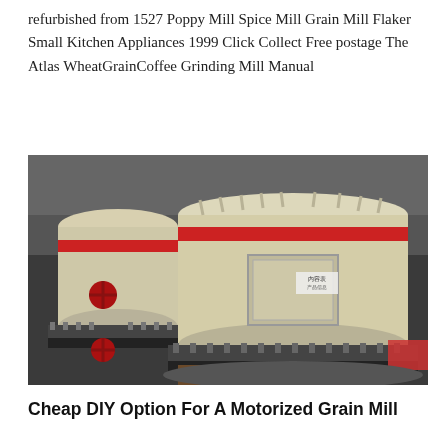refurbished from 1527 Poppy Mill Spice Mill Grain Mill Flaker Small Kitchen Appliances 1999 Click Collect Free postage The Atlas WheatGrainCoffee Grinding Mill Manual
[Figure (photo): Industrial grain mill machines in a factory setting. Large cream/beige colored cylindrical grinding machines with red accent rings and red valve wheels. Dark industrial background.]
Cheap DIY Option For A Motorized Grain Mill